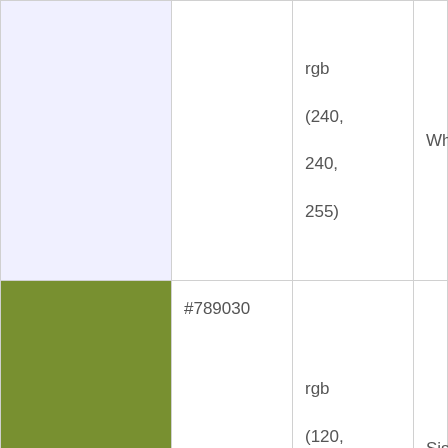| Color | Hex | RGB | Name |
| --- | --- | --- | --- |
| [lavender swatch] |  | (240, 240, 255) | White |
| [siskin swatch] | #789030 | rgb (120, 144, 48) | Siskin Sprout |
| [vapour swatch] | #f0ffff | rgb (240, 255, 255) | Vapour |
| [honeydew swatch] | #f0fff0 | rgb | Honeydew |